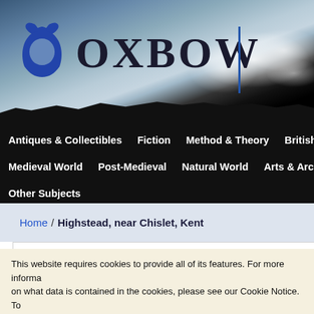[Figure (screenshot): Oxbow Books website header with sky/cloud background, blue Oxbow logo icon, and OXBOW wordmark in dark serif font with a blue vertical divider line]
Antiques & Collectibles  Fiction  Method & Theory  British Archaeology  Medieval World  Post-Medieval  Natural World  Arts & Architecture  Other Subjects
Home / Highstead, near Chislet, Kent
Highstead, n
This website requires cookies to provide all of its features. For more informa on what data is contained in the cookies, please see our Cookie Notice. To accept cookies from this site, please click the Allow Cookies button below.
Allow Cookies